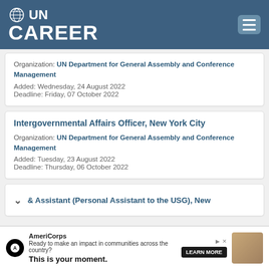[Figure (logo): UN Career logo with globe icon on blue header bar with hamburger menu]
Organization: UN Department for General Assembly and Conference Management
Added: Wednesday, 24 August 2022
Deadline: Friday, 07 October 2022
Intergovernmental Affairs Officer, New York City
Organization: UN Department for General Assembly and Conference Management
Added: Tuesday, 23 August 2022
Deadline: Thursday, 06 October 2022
& Assistant (Personal Assistant to the USG), New
[Figure (screenshot): AmeriCorps advertisement banner: Ready to make an impact in communities across the country? This is your moment. LEARN MORE]